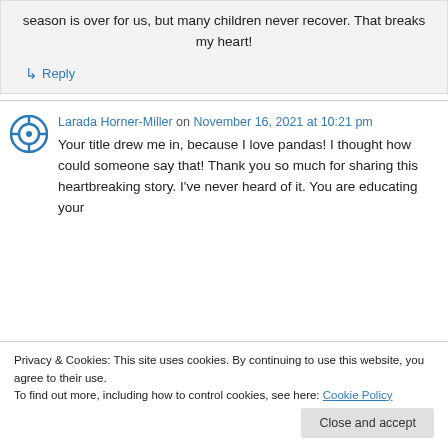season is over for us, but many children never recover. That breaks my heart!
↳ Reply
Larada Horner-Miller on November 16, 2021 at 10:21 pm
Your title drew me in, because I love pandas! I thought how could someone say that! Thank you so much for sharing this heartbreaking story. I've never heard of it. You are educating your
Privacy & Cookies: This site uses cookies. By continuing to use this website, you agree to their use.
To find out more, including how to control cookies, see here: Cookie Policy
Close and accept